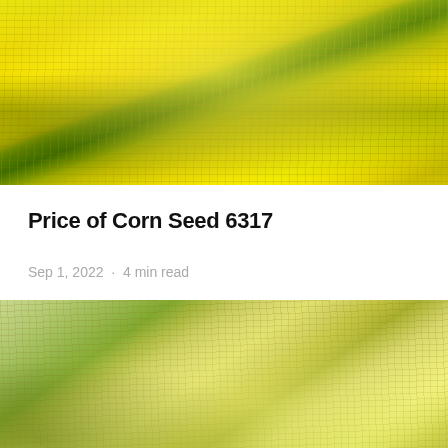[Figure (photo): Close-up photograph of yellow corn on the cob with green husks]
Price of Corn Seed 6317
Sep 1, 2022  ·  4 min read
[Figure (photo): Close-up photograph of pale yellow/white corn on the cob with green husks]